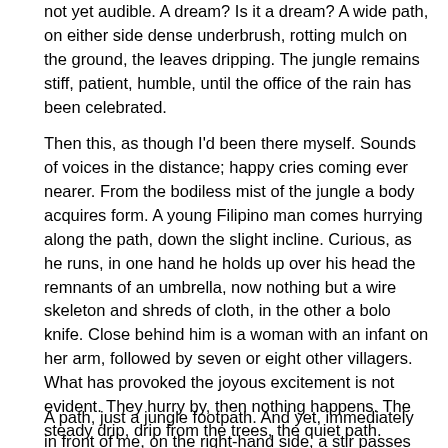not yet audible. A dream? Is it a dream? A wide path, on either side dense underbrush, rotting mulch on the ground, the leaves dripping. The jungle remains stiff, patient, humble, until the office of the rain has been celebrated.
Then this, as though I'd been there myself. Sounds of voices in the distance; happy cries coming ever nearer. From the bodiless mist of the jungle a body acquires form. A young Filipino man comes hurrying along the path, down the slight incline. Curious, as he runs, in one hand he holds up over his head the remnants of an umbrella, now nothing but a wire skeleton and shreds of cloth, in the other a bolo knife. Close behind him is a woman with an infant on her arm, followed by seven or eight other villagers. What has provoked the joyous excitement is not evident. They hurry by, then nothing happens. The steady drip, drip from the trees, the quiet path.
A path, just a jungle footpath. And yet, immediately in front of me, on the right-hand side, a stir passes through a few of the moldering leaves, and on the tree roots, brilliant with a strange color,